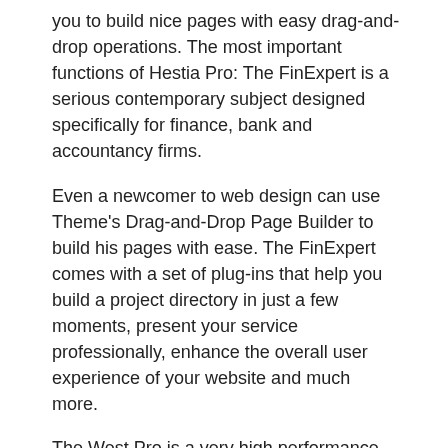you to build nice pages with easy drag-and-drop operations. The most important functions of Hestia Pro: The FinExpert is a serious contemporary subject designed specifically for finance, bank and accountancy firms.
Even a newcomer to web design can use Theme's Drag-and-Drop Page Builder to build his pages with ease. The FinExpert comes with a set of plug-ins that help you build a project directory in just a few moments, present your service professionally, enhance the overall user experience of your website and much more.
The West Pro is a very high performance premium WordPress business application where you can be very imaginative to create a one-of-a-kind and breathtaking website for your business. One of the other great features of West Pro that I like is the Mail and Page options that allow you to check each item per mail.
The most important functions of West Pro: The Sydney Pro is the best-selling topic of Athemes for 2016. It is the most feature-rich and powerfull topic that will help companies and contractors make a fantastic website. Sydney Pro is fully